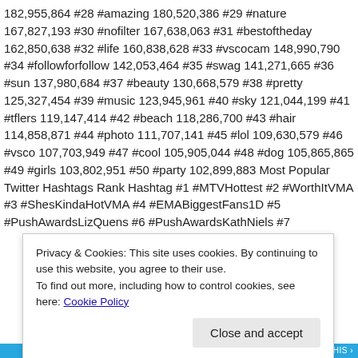182,955,864 #28 #amazing 180,520,386 #29 #nature 167,827,193 #30 #nofilter 167,638,063 #31 #bestoftheday 162,850,638 #32 #life 160,838,628 #33 #vscocam 148,990,790 #34 #followforfollow 142,053,464 #35 #swag 141,271,665 #36 #sun 137,980,684 #37 #beauty 130,668,579 #38 #pretty 125,327,454 #39 #music 123,945,961 #40 #sky 121,044,199 #41 #tflers 119,147,414 #42 #beach 118,286,700 #43 #hair 114,858,871 #44 #photo 111,707,141 #45 #lol 109,630,579 #46 #vsco 107,703,949 #47 #cool 105,905,044 #48 #dog 105,865,865 #49 #girls 103,802,951 #50 #party 102,899,883 Most Popular Twitter Hashtags Rank Hashtag #1 #MTVHottest #2 #WorthItVMA #3 #ShesKindaHotVMA #4 #EMABiggestFans1D #5 #PushAwardsLizQuens #6 #PushAwardsKathNiels #7
Privacy & Cookies: This site uses cookies. By continuing to use this website, you agree to their use. To find out more, including how to control cookies, see here: Cookie Policy
Close and accept